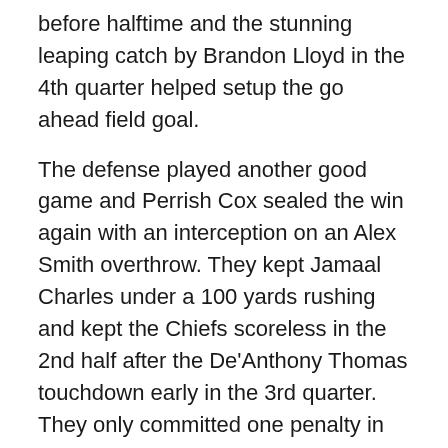before halftime and the stunning leaping catch by Brandon Lloyd in the 4th quarter helped setup the go ahead field goal.
The defense played another good game and Perrish Cox sealed the win again with an interception on an Alex Smith overthrow. They kept Jamaal Charles under a 100 yards rushing and kept the Chiefs scoreless in the 2nd half after the De'Anthony Thomas touchdown early in the 3rd quarter. They only committed one penalty in the game. So please come up with another story before next Monday night. Because these Niners have been playing well with all these stories circulating.